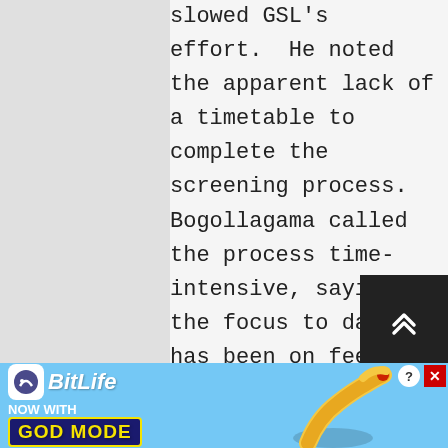slowed GSL's effort.  He noted the apparent lack of a timetable to complete the screening process.  Bogollagama called the process time-intensive, saying the focus to date has been on feeding and sheltering people.  A/S Blake reemphasized that more progress on IDP returns will boost Sri Lanka's standing in the international community, suggesting that
[Figure (other): BitLife advertisement banner with 'NOW WITH GOD MODE' text and cartoon hand illustration]